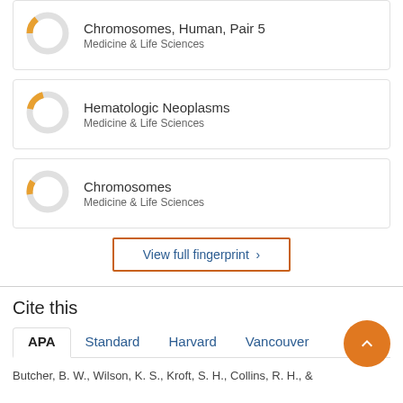[Figure (donut-chart): Donut chart showing partial orange fill (~15%) for Chromosomes, Human, Pair 5]
Chromosomes, Human, Pair 5
Medicine & Life Sciences
[Figure (donut-chart): Donut chart showing partial orange fill (~20%) for Hematologic Neoplasms]
Hematologic Neoplasms
Medicine & Life Sciences
[Figure (donut-chart): Donut chart showing partial orange fill (~15%) for Chromosomes]
Chromosomes
Medicine & Life Sciences
View full fingerprint >
Cite this
APA   Standard   Harvard   Vancouver
Butcher, B. W., Wilson, K. S., Kroft, S. H., Collins, R. H., &